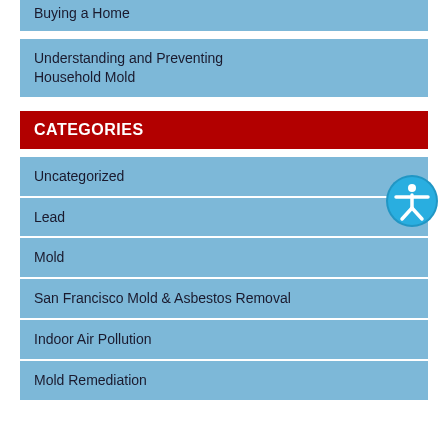Buying a Home
Understanding and Preventing Household Mold
CATEGORIES
Uncategorized
Lead
Mold
San Francisco Mold & Asbestos Removal
Indoor Air Pollution
Mold Remediation